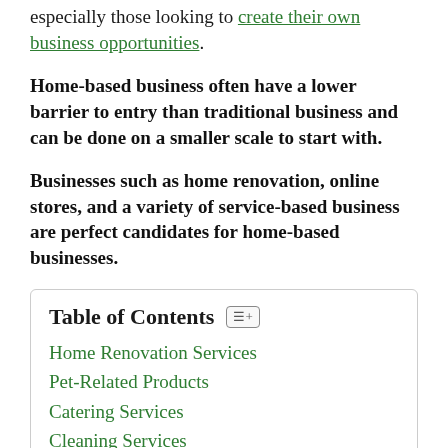especially those looking to create their own business opportunities.
Home-based business often have a lower barrier to entry than traditional business and can be done on a smaller scale to start with.
Businesses such as home renovation, online stores, and a variety of service-based business are perfect candidates for home-based businesses.
| Table of Contents |
| --- |
| Home Renovation Services |
| Pet-Related Products |
| Catering Services |
| Cleaning Services |